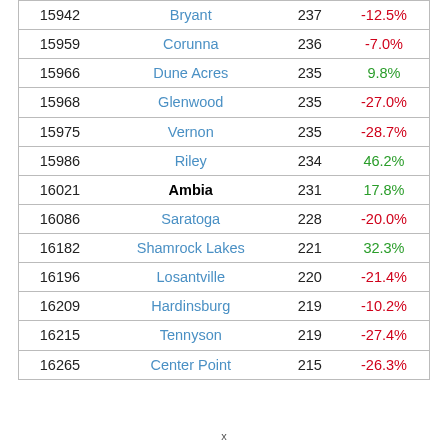| 15942 | Bryant | 237 | -12.5% |
| 15959 | Corunna | 236 | -7.0% |
| 15966 | Dune Acres | 235 | 9.8% |
| 15968 | Glenwood | 235 | -27.0% |
| 15975 | Vernon | 235 | -28.7% |
| 15986 | Riley | 234 | 46.2% |
| 16021 | Ambia | 231 | 17.8% |
| 16086 | Saratoga | 228 | -20.0% |
| 16182 | Shamrock Lakes | 221 | 32.3% |
| 16196 | Losantville | 220 | -21.4% |
| 16209 | Hardinsburg | 219 | -10.2% |
| 16215 | Tennyson | 219 | -27.4% |
| 16265 | Center Point | 215 | -26.3% |
x